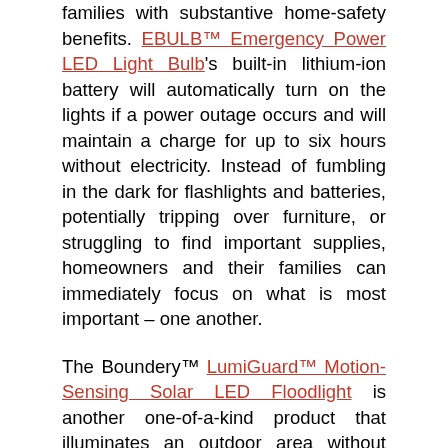families with substantive home-safety benefits. EBULB™ Emergency Power LED Light Bulb's built-in lithium-ion battery will automatically turn on the lights if a power outage occurs and will maintain a charge for up to six hours without electricity. Instead of fumbling in the dark for flashlights and batteries, potentially tripping over furniture, or struggling to find important supplies, homeowners and their families can immediately focus on what is most important – one another.
The Boundery™ LumiGuard™ Motion-Sensing Solar LED Floodlight is another one-of-a-kind product that illuminates an outdoor area without drawing power from a city's power grid. This light fixture relies on a built-in solar panel for power and is sensitive enough to detect motion in complete darkness. Powerful outdoor floodlights are excellents deterrents for burglars, mischief-makers, or any sort of prowler who may threaten the security and peace of mind of an everyday hero and their family – even the four-legged kind! What sets the LumiGuard™ floodlight